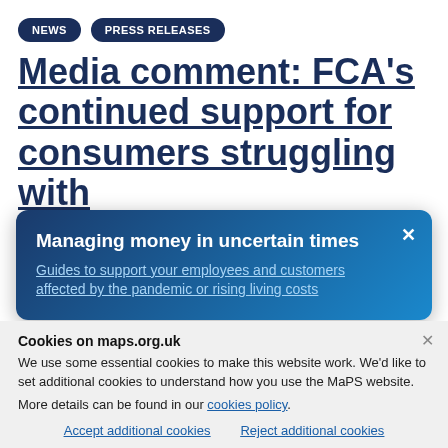NEWS | PRESS RELEASES
Media comment: FCA's continued support for consumers struggling with
Managing money in uncertain times
Guides to support your employees and customers affected by the pandemic or rising living costs
continued support for consumers struggling with payments
Cookies on maps.org.uk
We use some essential cookies to make this website work. We'd like to set additional cookies to understand how you use the MaPS website.
More details can be found in our cookies policy.
Accept additional cookies   Reject additional cookies